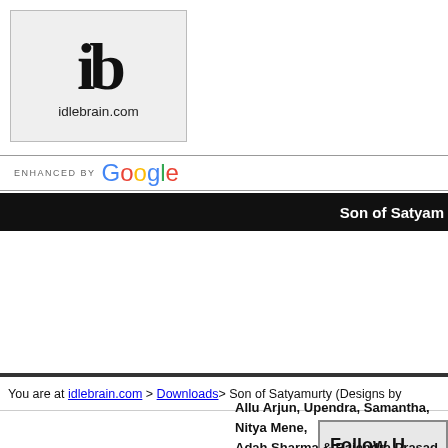[Figure (logo): idlebrain.com logo with 'ib' in large bold font and 'idlebrain.com' text below, inside a light grey bordered box]
[Figure (screenshot): Google search bar with 'ENHANCED BY Google' text]
Son of Satyam
You are at idlebrain.com > Downloads> Son of Satyamurty (Designs by
Follow U
Allu Arjun, Upendra, Samantha, Nitya Mene, Adah Sharma & Rajendra Prasad
in
Son of Satyamurty